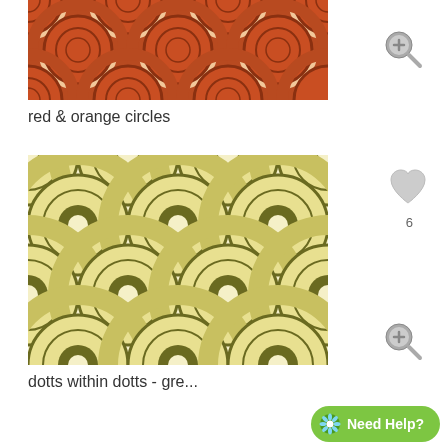[Figure (illustration): Red and orange concentric circles repeating pattern on a cream/beige background]
[Figure (illustration): Magnifying glass with plus icon, gray]
red & orange circles
[Figure (illustration): Gray heart icon with count 6 below]
[Figure (illustration): Yellow-green concentric circles (dotts within dotts) repeating pattern on white background]
[Figure (illustration): Magnifying glass with plus icon, gray]
dotts within dotts - gre...
Need Help?